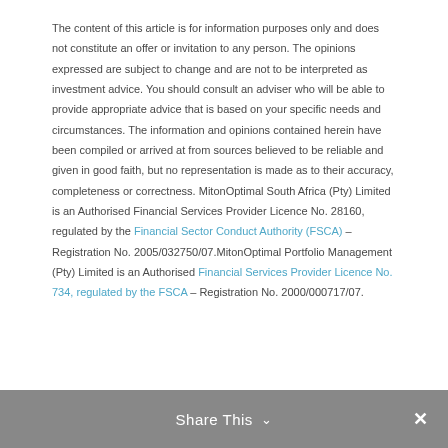The content of this article is for information purposes only and does not constitute an offer or invitation to any person. The opinions expressed are subject to change and are not to be interpreted as investment advice. You should consult an adviser who will be able to provide appropriate advice that is based on your specific needs and circumstances. The information and opinions contained herein have been compiled or arrived at from sources believed to be reliable and given in good faith, but no representation is made as to their accuracy, completeness or correctness. MitonOptimal South Africa (Pty) Limited is an Authorised Financial Services Provider Licence No. 28160, regulated by the Financial Sector Conduct Authority (FSCA) – Registration No. 2005/032750/07.MitonOptimal Portfolio Management (Pty) Limited is an Authorised Financial Services Provider Licence No. 734, regulated by the FSCA – Registration No. 2000/000717/07.
Share This ∨  ✕